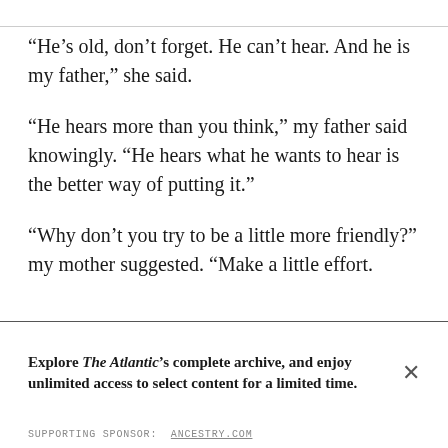“He’s old, don’t forget. He can’t hear. And he is my father,” she said.
“He hears more than you think,” my father said knowingly. “He hears what he wants to hear is the better way of putting it.”
“Why don’t you try to be a little more friendly?” my mother suggested. “Make a little effort.
Explore The Atlantic’s complete archive, and enjoy unlimited access to select content for a limited time.
SUPPORTING SPONSOR:  ANCESTRY.COM